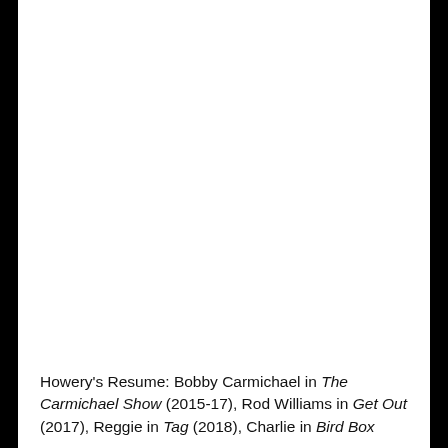Howery's Resume: Bobby Carmichael in The Carmichael Show (2015-17), Rod Williams in Get Out (2017), Reggie in Tag (2018), Charlie in Bird Box